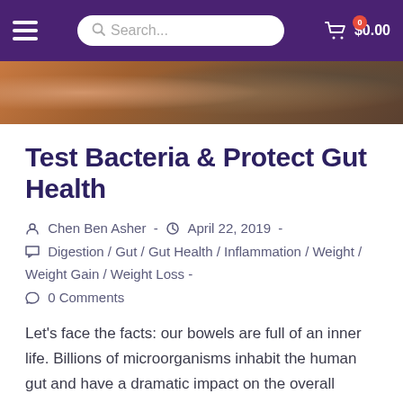Search... $0.00
[Figure (photo): Close-up photo of rocky/earthy ground surface in orange-brown tones]
Test Bacteria & Protect Gut Health
Chen Ben Asher  -  April 22, 2019  -  Digestion / Gut / Gut Health / Inflammation / Weight / Weight Gain / Weight Loss -  0 Comments
Let's face the facts: our bowels are full of an inner life. Billions of microorganisms inhabit the human gut and have a dramatic impact on the overall health of our...
Continue Reading  ›